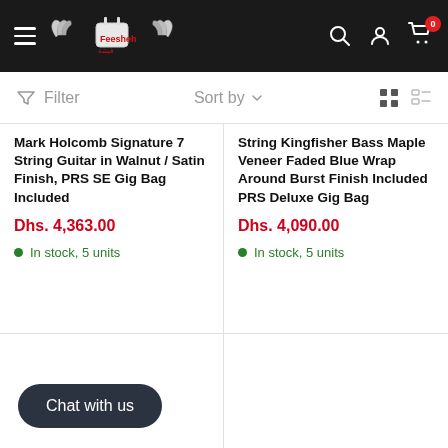Feesheh — navigation header with hamburger menu, logo, search, account, and cart icons
Filter   Sort by   (grid/list view icons)
Mark Holcomb Signature 7 String Guitar in Walnut / Satin Finish, PRS SE Gig Bag Included
Dhs. 4,363.00
In stock, 5 units
String Kingfisher Bass Maple Veneer Faded Blue Wrap Around Burst Finish Included PRS Deluxe Gig Bag
Dhs. 4,090.00
In stock, 5 units
Chat with us